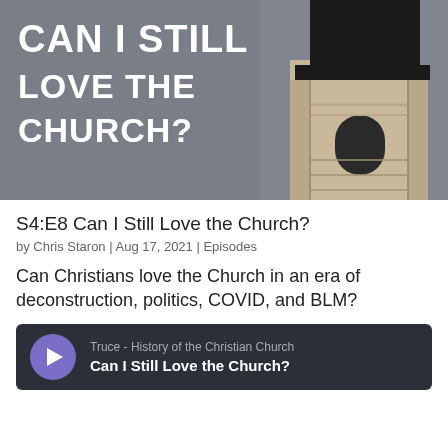[Figure (photo): Podcast cover art showing a church steeple against a gray sky background with bold white text reading CAN I STILL LOVE THE CHURCH?]
S4:E8 Can I Still Love the Church?
by Chris Staron | Aug 17, 2021 | Episodes
Can Christians love the Church in an era of deconstruction, politics, COVID, and BLM?
[Figure (screenshot): Audio player bar with purple play button, showing Truce - History of the Christian Church / Can I Still Love the Church?]